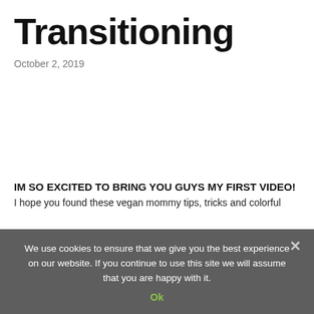Transitioning
October 2, 2019
We use cookies to ensure that we give you the best experience on our website. If you continue to use this site we will assume that you are happy with it.
IM SO EXCITED TO BRING YOU GUYS MY FIRST VIDEO!
I hope you found these vegan mommy tips, tricks and colorful